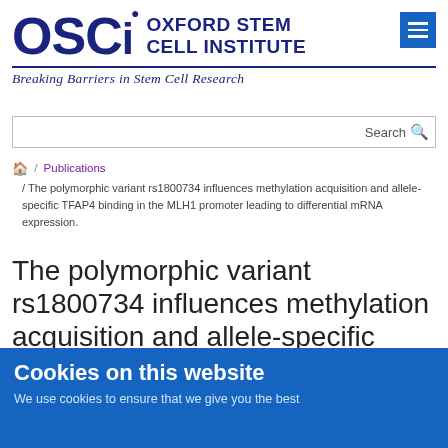[Figure (logo): OSCi Oxford Stem Cell Institute logo with dark blue letters and hamburger menu button]
Breaking Barriers in Stem Cell Research
Search
🏠 / Publications / The polymorphic variant rs1800734 influences methylation acquisition and allele-specific TFAP4 binding in the MLH1 promoter leading to differential mRNA expression.
The polymorphic variant rs1800734 influences methylation acquisition and allele-specific TFAP4 binding in the MLH1
Cookies on this website
We use cookies to ensure that we give you the best